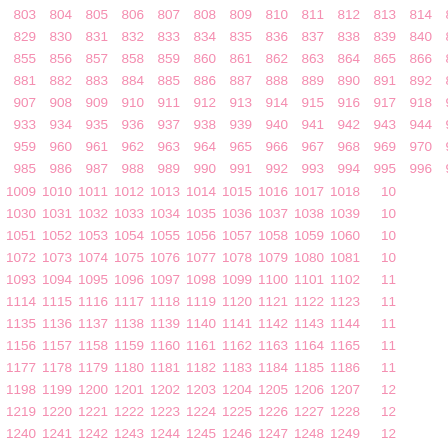Grid of sequential numbers from 803 to approximately 1354, arranged in rows of 13, incrementing by 26 per row, displayed in pink on white background.